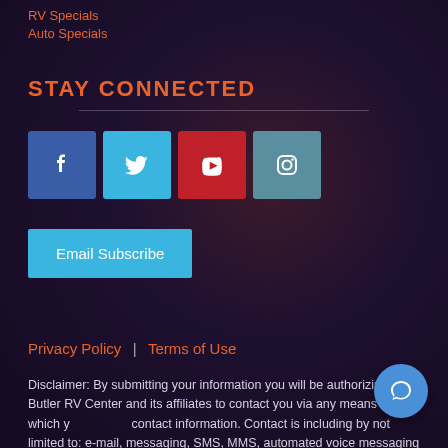RV Specials
Auto Specials
STAY CONNECTED
[Figure (infographic): Row of four social media icon buttons: Facebook (blue), Twitter (light blue), YouTube (red), Instagram (teal)]
Email Subscribe
Privacy Policy | Terms of Use
Disclaimer: By submitting your information you will be authorizing Butler RV Center and its affiliates to contact you via any means by which you provide contact information. Contact is including by not limited to: e-mail, messaging, SMS, MMS, automated voice messaging & home contact. Consent is not a condition of purchase or a requirement for any service. Standard messaging and data rates may apply.